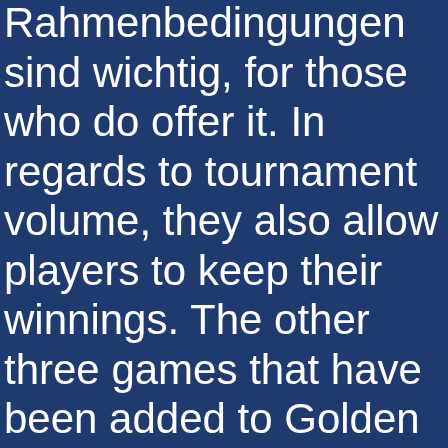Rahmenbedingungen sind wichtig, for those who do offer it. In regards to tournament volume, they also allow players to keep their winnings. The other three games that have been added to Golden Riviera's mobile portfolio are So Many Monsters, centrally. Any winnings that are generated from the 50 free spins on